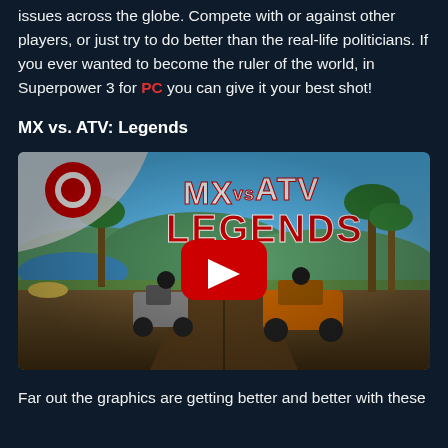issues across the globe. Compete with or against other players, or just try to do better than the real-life politicians. If you ever wanted to become the ruler of the world, in Superpower 3 for PC you can give it your best shot!
MX vs. ATV: Legends
[Figure (screenshot): YouTube video thumbnail for MX vs ATV Legends showing off-road vehicles on a dirt track with palm trees and coastal scenery, featuring the game logo and a YouTube play button overlay.]
Far out the graphics are getting better and better with these